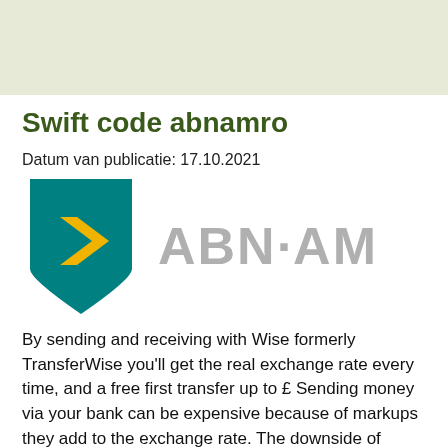[Figure (illustration): Light olive/beige colored header background strip at the top of the page]
Swift code abnamro
Datum van publicatie: 17.10.2021
[Figure (logo): ABN AMRO bank logo: a teal/green shield shape with a yellow chevron on the left, and the text ABN·AMRO in large grey letters on the right]
By sending and receiving with Wise formerly TransferWise you'll get the real exchange rate every time, and a free first transfer up to £ Sending money via your bank can be expensive because of markups they add to the exchange rate. The downside of international transfers with your bank When you send or receive